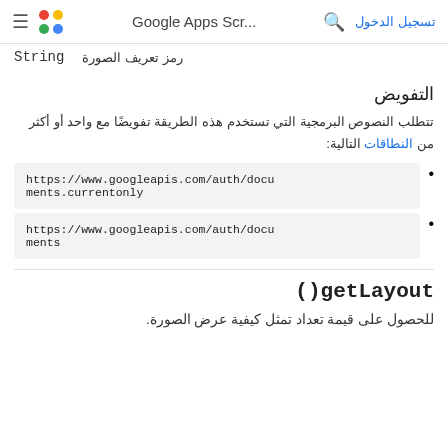تسجيل الدخول | Google Apps Scr... | search | apps icon | menu
String رمز تعريف الصورة
التفويض
تتطلب النصوص البرمجية التي تستخدم هذه الطريقة تفويضًا مع واحد أو أكثر من النطاقات التالية:
https://www.googleapis.com/auth/documents.currentonly
https://www.googleapis.com/auth/documents
getLayout()
للحصول على قيمة تعداد تمثل كيفية عرض الصورة.